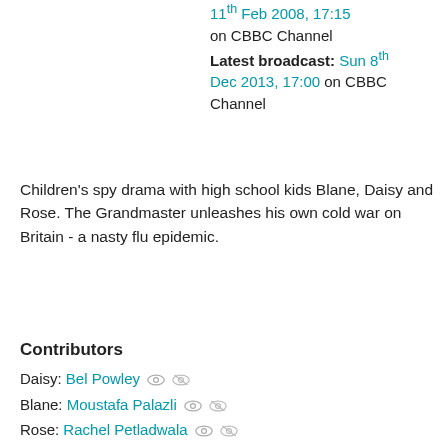11th Feb 2008, 17:15 on CBBC Channel Latest broadcast: Sun 8th Dec 2013, 17:00 on CBBC Channel
Children's spy drama with high school kids Blane, Daisy and Rose. The Grandmaster unleashes his own cold war on Britain - a nasty flu epidemic.
Contributors
Daisy: Bel Powley
Blane: Moustafa Palazli
Rose: Rachel Petladwala
Lenny: Danny John-Jules
Producer: Kerry Appleyard
Director: Simon Hook
Writer: Keith Brumpton
Mr. Flatley: Chris Stanton